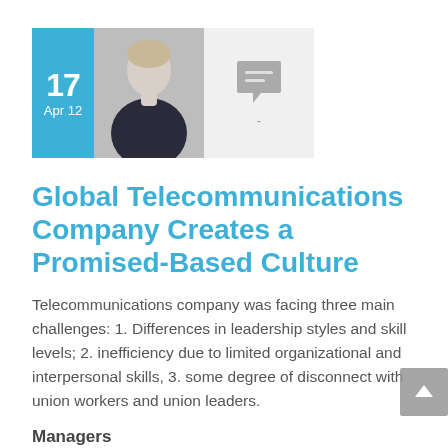[Figure (photo): Date badge showing '17 Apr 12' in blue box, a photo of a woman, and a comment speech bubble icon on a light background]
Global Telecommunications Company Creates a Promised-Based Culture
Telecommunications company was facing three main challenges: 1. Differences in leadership styles and skill levels; 2. inefficiency due to limited organizational and interpersonal skills, 3. some degree of disconnect with union workers and union leaders.
Managers